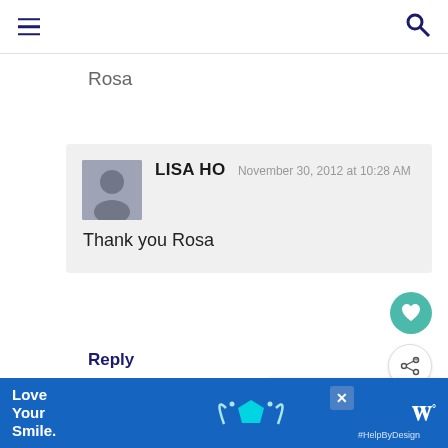≡  🔍
Rosa
LISA HO  November 30, 2012 at 10:28 AM
Thank you Rosa
Reply
HUI  November 27, 2012 at 4:42 PM
awww.. letting go doesn't mean he's any less your baby.. it just means having more time with
WHAT'S NEXT → Kuih Cara Berlauk/...
Love Your Smile. #HelpByDesign